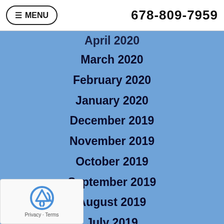MENU  678-809-7959
April 2020
March 2020
February 2020
January 2020
December 2019
November 2019
October 2019
September 2019
August 2019
July 2019
June 2019
[Figure (logo): reCAPTCHA logo with Privacy and Terms links]